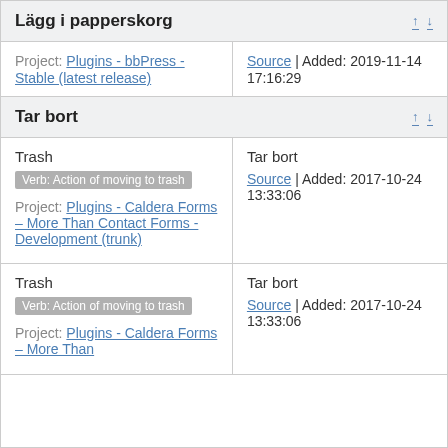Lägg i papperskorg
Project: Plugins - bbPress - Stable (latest release) | Source | Added: 2019-11-14 17:16:29
Tar bort
Trash
Verb: Action of moving to trash
Project: Plugins - Caldera Forms – More Than Contact Forms - Development (trunk)
Tar bort
Source | Added: 2017-10-24 13:33:06
Trash
Verb: Action of moving to trash
Project: Plugins - Caldera Forms – More Than
Tar bort
Source | Added: 2017-10-24 13:33:06